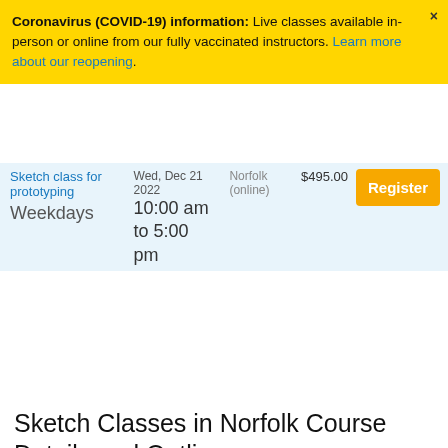Coronavirus (COVID-19) information: Live classes available in-person or online from our fully vaccinated instructors. Learn more about our reopening.
| Course | Date | Location | Price | Action |
| --- | --- | --- | --- | --- |
| Sketch class for prototyping | Wed, Dec 21 2022
10:00 am to 5:00 pm | Norfolk (online) | $495.00 | Register |
Sketch Classes in Norfolk Course Details and Outlines
Sketch class for prototyping
In this hands-on Sketch class learn to efficiently create UX prototypes for websites and apps. This Sketch